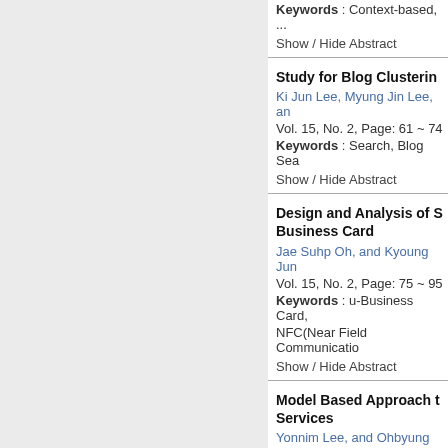Keywords : Context-based, ...
Show / Hide Abstract
Study for Blog Clustering
Ki Jun Lee, Myung Jin Lee, and ...
Vol. 15, No. 2, Page: 61 ~ 74
Keywords : Search, Blog Sea...
Show / Hide Abstract
Design and Analysis of S... Business Card
Jae Suhp Oh, and Kyoung Jun...
Vol. 15, No. 2, Page: 75 ~ 95
Keywords : u-Business Card, NFC(Near Field Communicatio...
Show / Hide Abstract
Model Based Approach ... Services
Yonnim Lee, and Ohbyung Kw...
Vol. 15, No. 2, Page: 97 ~ 111